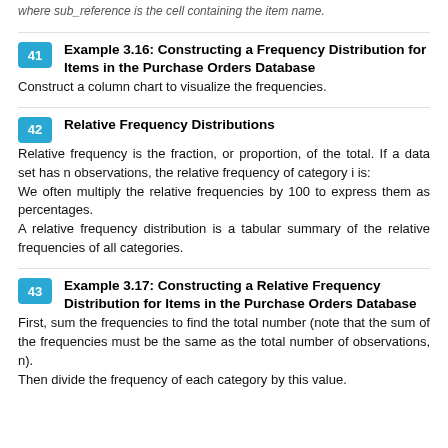where sub_reference is the cell containing the item name.
41  Example 3.16: Constructing a Frequency Distribution for Items in the Purchase Orders Database
Construct a column chart to visualize the frequencies.
42  Relative Frequency Distributions
Relative frequency is the fraction, or proportion, of the total. If a data set has n observations, the relative frequency of category i is:
We often multiply the relative frequencies by 100 to express them as percentages.
A relative frequency distribution is a tabular summary of the relative frequencies of all categories.
43  Example 3.17: Constructing a Relative Frequency Distribution for Items in the Purchase Orders Database
First, sum the frequencies to find the total number (note that the sum of the frequencies must be the same as the total number of observations, n).
Then divide the frequency of each category by this value.